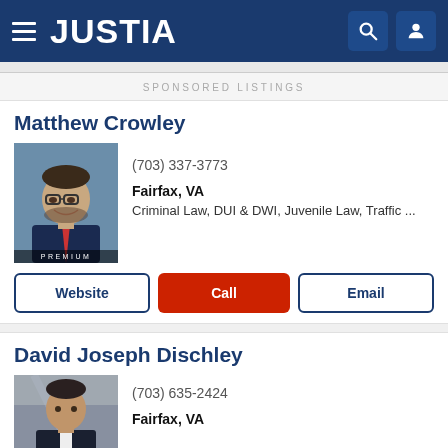JUSTIA
SPONSORED LISTINGS
Matthew Crowley
[Figure (photo): Professional headshot of Matthew Crowley, a male attorney wearing glasses, a dark suit and a red tie. PREMIUM label overlaid at bottom.]
(703) 337-3773
Fairfax, VA
Criminal Law, DUI & DWI, Juvenile Law, Traffic ...
Website | Call | Email
David Joseph Dischley
[Figure (photo): Professional headshot of David Joseph Dischley, a male attorney in a dark suit.]
(703) 635-2424
Fairfax, VA